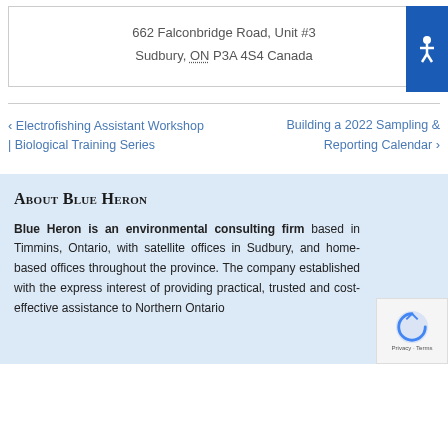662 Falconbridge Road, Unit #3
Sudbury, ON P3A 4S4 Canada
[Figure (other): Accessibility icon button - blue square with white wheelchair/person icon]
< Electrofishing Assistant Workshop | Biological Training Series
Building a 2022 Sampling & Reporting Calendar >
About Blue Heron
Blue Heron is an environmental consulting firm based in Timmins, Ontario, with satellite offices in Sudbury, and home-based offices throughout the province. The company was established with the express interest of providing practical, trusted and cost-effective assistance to Northern Ontario